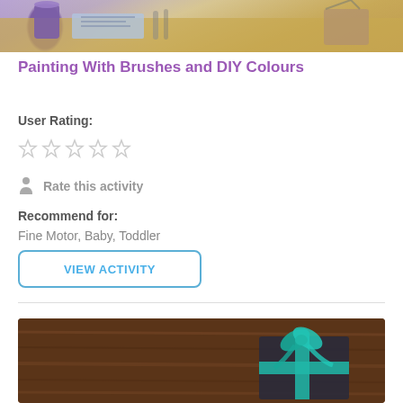[Figure (photo): Photo of painting activity with brushes, art supplies and purple cup on a table]
Painting With Brushes and DIY Colours
User Rating:
[Figure (other): Five empty/outline stars for user rating]
Rate this activity
Recommend for:
Fine Motor, Baby, Toddler
VIEW ACTIVITY
[Figure (photo): Photo of a dark gift box with teal/turquoise ribbon bow on a dark wooden table]